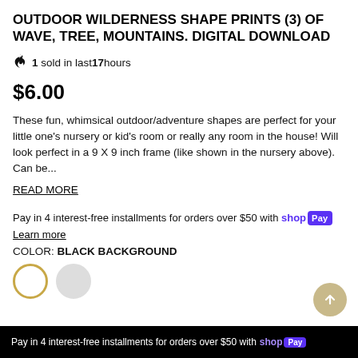OUTDOOR WILDERNESS SHAPE PRINTS (3) OF WAVE, TREE, MOUNTAINS. DIGITAL DOWNLOAD
1 sold in last 17 hours
$6.00
These fun, whimsical outdoor/adventure shapes are perfect for your little one's nursery or kid's room or really any room in the house! Will look perfect in a 9 X 9 inch frame (like shown in the nursery above). Can be...
READ MORE
Pay in 4 interest-free installments for orders over $50 with shop Pay
Learn more
COLOR: BLACK BACKGROUND
Pay in 4 interest-free installments for orders over $50 with shop Pay